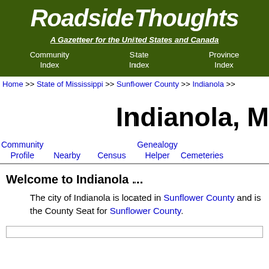RoadsideThoughts
A Gazetteer for the United States and Canada
Community Index | State Index | Province Index
Home >> State of Mississippi >> Sunflower County >> Indianola >>
Indianola, M
Community Profile | Nearby | Census | Genealogy Helper | Cemeteries
Welcome to Indianola ...
The city of Indianola is located in Sunflower County and is the County Seat for Sunflower County.